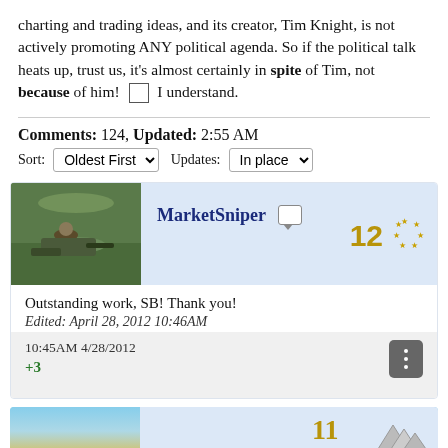charting and trading ideas, and its creator, Tim Knight, is not actively promoting ANY political agenda. So if the political talk heats up, trust us, it's almost certainly in spite of Tim, not because of him! ☐ I understand.
Comments: 124, Updated: 2:55 AM
Sort: Oldest First   Updates: In place
MarketSniper
Outstanding work, SB! Thank you!
Edited: April 28, 2012 10:46AM
10:45AM 4/28/2012
+3